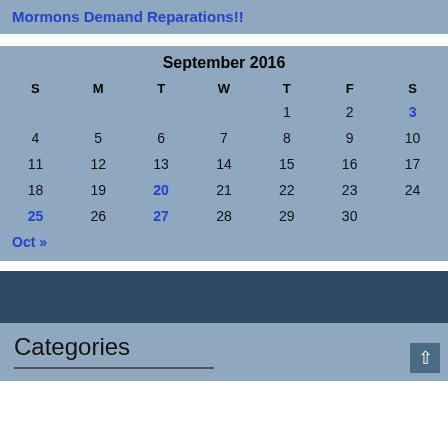Mormons Demand Reparations!!
| S | M | T | W | T | F | S |
| --- | --- | --- | --- | --- | --- | --- |
|  |  |  |  | 1 | 2 | 3 |
| 4 | 5 | 6 | 7 | 8 | 9 | 10 |
| 11 | 12 | 13 | 14 | 15 | 16 | 17 |
| 18 | 19 | 20 | 21 | 22 | 23 | 24 |
| 25 | 26 | 27 | 28 | 29 | 30 |  |
Oct »
Categories